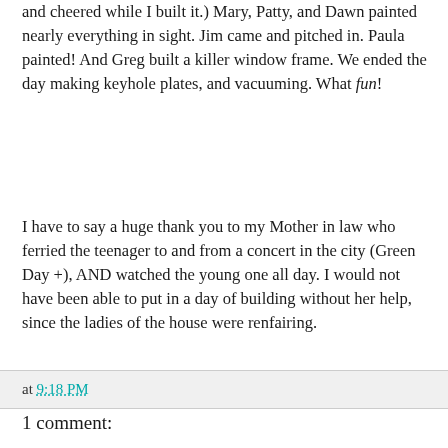and cheered while I built it.) Mary, Patty, and Dawn painted nearly everything in sight. Jim came and pitched in. Paula painted! And Greg built a killer window frame. We ended the day making keyhole plates, and vacuuming. What fun!
I have to say a huge thank you to my Mother in law who ferried the teenager to and from a concert in the city (Green Day +), AND watched the young one all day. I would not have been able to put in a day of building without her help, since the ladies of the house were renfairing.
at 9:18 PM
1 comment:
Anonymous 7/02/2005 11:57 PM
Lydia is so awesome. She's always been cool, but now she's ultracool. We all appreciate very much that she stepped up and allowed you to be available to assist us today. The pump structure is a work of art! Thanks, Mr